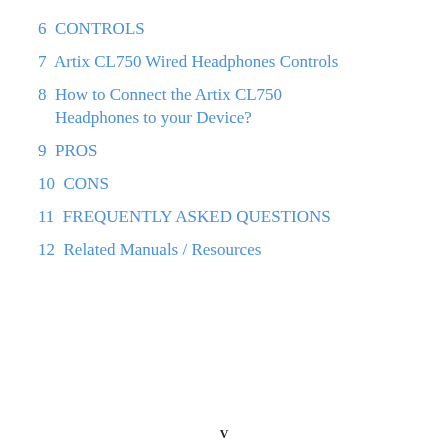6  CONTROLS
7  Artix CL750 Wired Headphones Controls
8  How to Connect the Artix CL750 Headphones to your Device?
9  PROS
10  CONS
11  FREQUENTLY ASKED QUESTIONS
12  Related Manuals / Resources
V